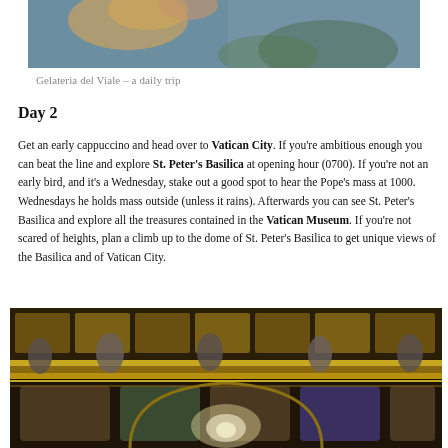[Figure (photo): Top portion of a photo showing what appears to be an ice cream cone held against a decorative background]
Gelateria del Viale – a daily trip
Day 2
Get an early cappuccino and head over to Vatican City. If you're ambitious enough you can beat the line and explore St. Peter's Basilica at opening hour (0700). If you're not an early bird, and it's a Wednesday, stake out a good spot to hear the Pope's mass at 1000. Wednesdays he holds mass outside (unless it rains). Afterwards you can see St. Peter's Basilica and explore all the treasures contained in the Vatican Museum. If you're not scared of heights, plan a climb up to the dome of St. Peter's Basilica to get unique views of the Basilica and of Vatican City.
[Figure (photo): Interior photo of St. Peter's Basilica showing ornate gilded ceiling with mosaic panels, baroque decorations, statues along the cornice, and the illuminated dome in the background]